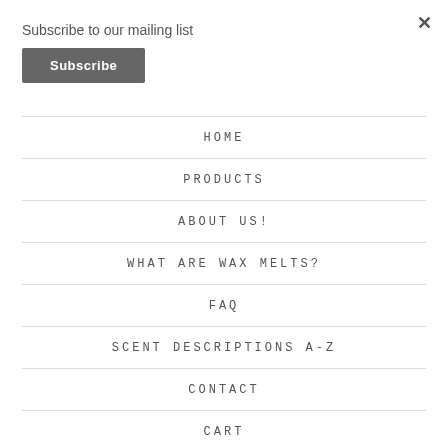×
Subscribe to our mailing list
Subscribe
HOME
PRODUCTS
ABOUT US!
WHAT ARE WAX MELTS?
FAQ
SCENT DESCRIPTIONS A-Z
CONTACT
CART